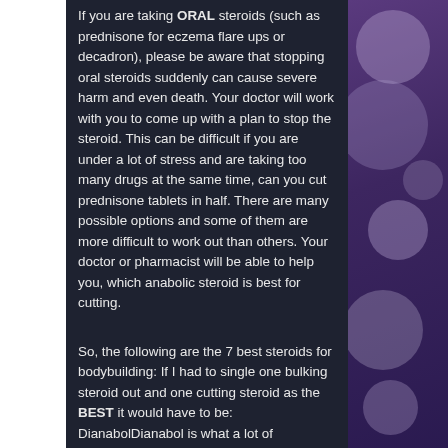If you are taking ORAL steroids (such as prednisone for eczema flare ups or decadron), please be aware that stopping oral steroids suddenly can cause severe harm and even death. Your doctor will work with you to come up with a plan to stop the steroid. This can be difficult if you are under a lot of stress and are taking too many drugs at the same time, can you cut prednisone tablets in half. There are many possible options and some of them are more difficult to work out than others. Your doctor or pharmacist will be able to help you, which anabolic steroid is best for cutting.
So, the following are the 7 best steroids for bodybuilding: If I had to single one bulking steroid out and one cutting steroid as the BEST it would have to be: DianabolDianabol is what a lot of professional bodybuilders take. Dianabolic has gained notoriety as the